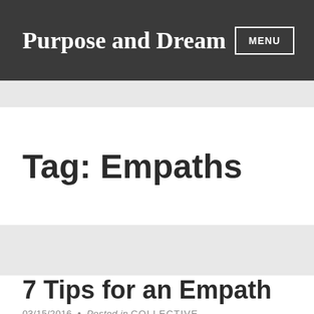Purpose and Dream
Tag: Empaths
7 Tips for an Empath
03/15/2016 • Posted in COLLECTIVE CONSCIOUSNESS, SPIRITUALITY, WELLNESS